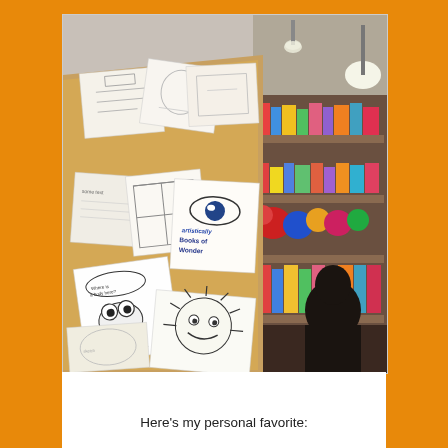[Figure (photo): A photo of a wooden table or display board covered with many hand-drawn sketches and cartoon drawings on white paper, spread across the surface. On the right side of the image is a bookstore interior with shelves holding books, stuffed animals, and colorful toys. A person is seen from behind in the right foreground. Overhead pendant lights are visible. One of the drawings appears to be a logo or sign reading 'Books of Wonder'. Another drawing shows a bug or creature with big eyes.]
Here's my personal favorite: